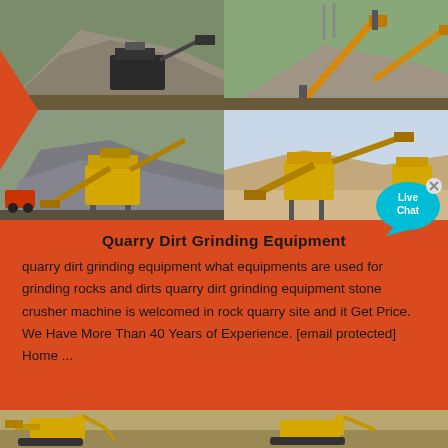[Figure (photo): Four-panel photo grid showing quarry and stone crushing equipment at various sites — includes crusher machines, conveyor belts, gravel piles, and industrial mining equipment.]
Quarry Dirt Grinding Equipment
quarry dirt grinding equipment what equipments are used for grinding rocks and dirts quarry dirt grinding equipment stone crusher machine is welcomed in rock quarry site and it Get Price. We Have More Than 40 Years of Experience. [email protected] Home ...
[Figure (photo): Bottom strip photo showing yellow construction/excavation equipment at a quarry site.]